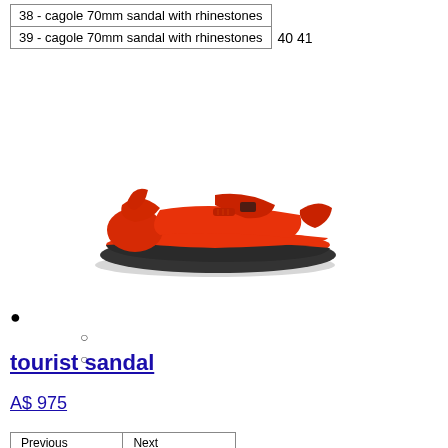| 38 - cagole 70mm sandal with rhinestones |  |
| 39 - cagole 70mm sandal with rhinestones | 40 41 |
[Figure (photo): Red tourist sandal with velcro straps and black sole, shown from a 3/4 angle on white background.]
• ○ ○
tourist sandal
A$ 975
| Previous | Next |
| 39 | 40 - tourist sandal | 41 - tourist sandal |
| 42 - tourist sandal | 43 - tourist sandal | 44 - tourist sandal |